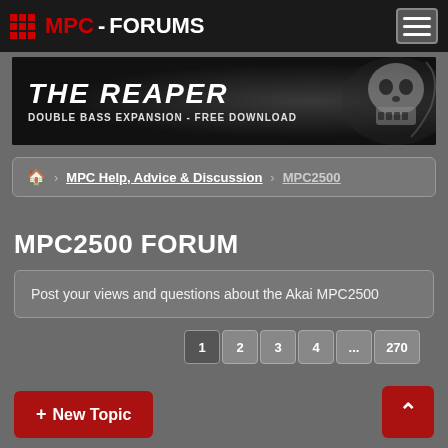MPC-FORUMS
[Figure (illustration): The Reaper banner ad - Double Bass Expansion Free Download with skull/grim reaper graphic]
🏠 > MPC Help, Advice & Discussion > MPC2500
MPC2500 FORUM
Post your views and questions about the Akai MPC2500
1 2 3 4 ... 270
+ New Topic